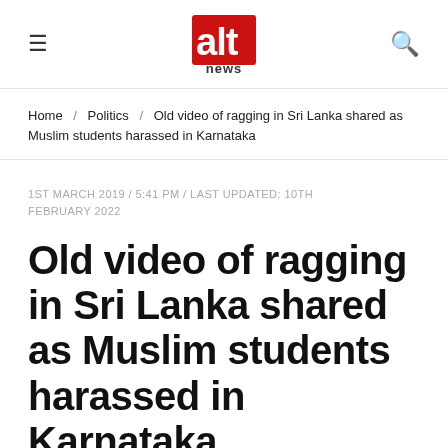Alt News — hamburger menu, logo, search icon
Home / Politics / Old video of ragging in Sri Lanka shared as Muslim students harassed in Karnataka
1ST MARCH 2019 / 5:41 PM / LAST UPDATED: 10TH FEBRUARY 2022
Old video of ragging in Sri Lanka shared as Muslim students harassed in Karnataka